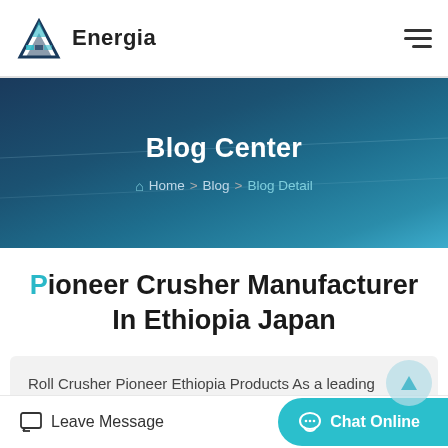Energia
Blog Center
Home > Blog > Blog Detail
Pioneer Crusher Manufacturer In Ethiopia Japan
Roll Crusher Pioneer Ethiopia Products As a leading global manufacturer of crushing, grinding and mining equipments,
Leave Message  Chat Online